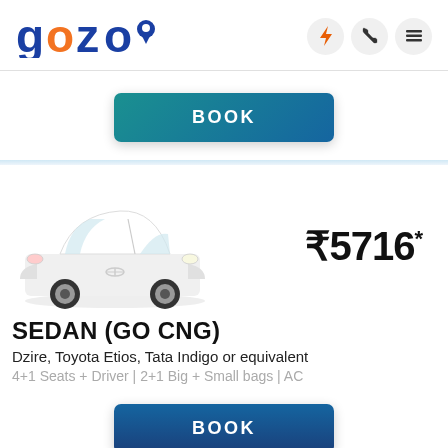[Figure (logo): gozo logo with blue text and orange 'o', with a map pin icon]
[Figure (other): Three circular icon buttons: lightning bolt, phone handset, hamburger menu]
[Figure (other): BOOK button with teal-to-blue gradient]
[Figure (photo): White sedan car (Toyota Etios style) facing left on white background]
₹5716*
SEDAN (GO CNG)
Dzire, Toyota Etios, Tata Indigo or equivalent
4+1 Seats + Driver | 2+1 Big + Small bags | AC
[Figure (other): BOOK button with blue gradient]